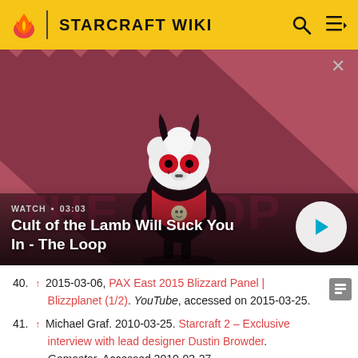STARCRAFT WIKI
[Figure (screenshot): Video thumbnail showing a Cult of the Lamb character on a red diagonal striped background with 'THE LOOP' text. Video title: 'Cult of the Lamb Will Suck You In - The Loop'. Duration: 03:03. Play button overlay visible.]
40. ↑ 2015-03-06, PAX East 2015 Blizzard Panel | Blizzplanet (1/2). YouTube, accessed on 2015-03-25.
41. ↑ Michael Graf. 2010-03-25. Starcraft 2 – Exclusive interview with lead designer Dustin Browder. Gamestar. Accessed 2010-03-27.